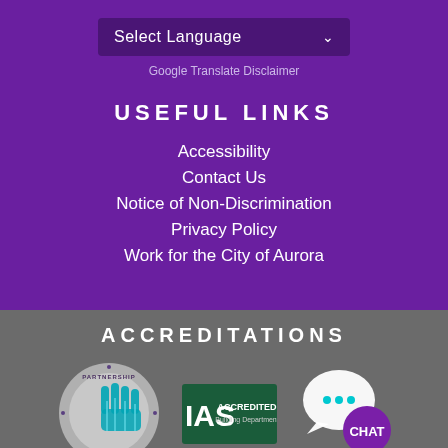Select Language ▾
Google Translate Disclaimer
USEFUL LINKS
Accessibility
Contact Us
Notice of Non-Discrimination
Privacy Policy
Work for the City of Aurora
ACCREDITATIONS
[Figure (logo): Partnership for Excellence logo - circular badge with teal hand/circuit design]
[Figure (logo): IAS Accredited Building Department logo - green rectangle with IAS text]
[Figure (logo): Chat bubble icon with purple CHAT badge]